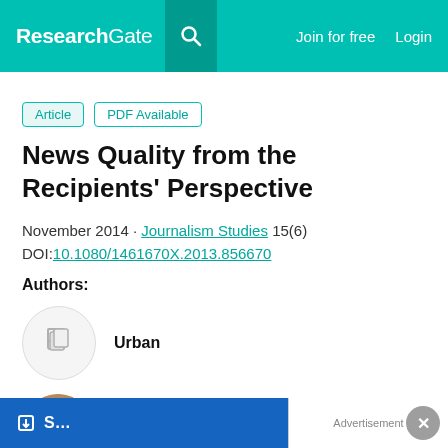ResearchGate  Join for free  Login
Article  PDF Available
News Quality from the Recipients' Perspective
November 2014 · Journalism Studies 15(6)
DOI:10.1080/1461670X.2013.856670
Authors:
Urban
Wolfgang Schweiger
University of Hohenheim